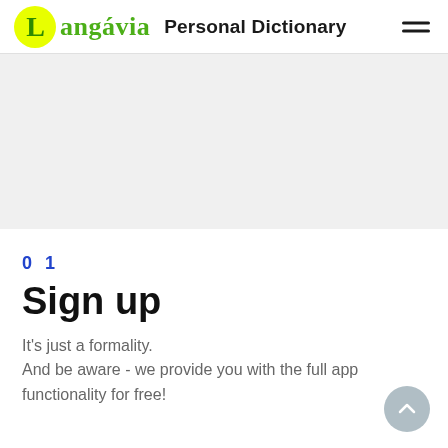Langávia Personal Dictionary
[Figure (other): Light gray rectangular placeholder area, likely an advertisement or image banner]
01
Sign up
It's just a formality.
And be aware - we provide you with the full app functionality for free!